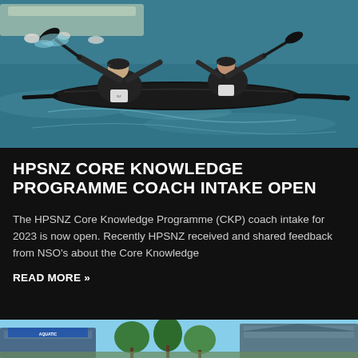[Figure (photo): Two kayakers paddling a tandem black kayak on blue water, both wearing dark New Zealand jerseys and black caps, viewed from behind at an angle. A dock and buoys are visible in the background.]
HPSNZ CORE KNOWLEDGE PROGRAMME COACH INTAKE OPEN
The HPSNZ Core Knowledge Programme (CKP) coach intake for 2023 is now open. Recently HPSNZ received and shared feedback from NSO's about the Core Knowledge
READ MORE »
[Figure (photo): Partial view of a building exterior with trees, appears to be a sports or aquatic facility.]